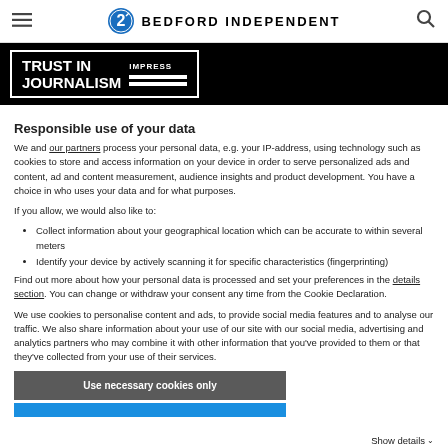BEDFORD INDEPENDENT
[Figure (logo): Trust in Journalism IMPRESS banner logo with white text on black background]
Responsible use of your data
We and our partners process your personal data, e.g. your IP-address, using technology such as cookies to store and access information on your device in order to serve personalized ads and content, ad and content measurement, audience insights and product development. You have a choice in who uses your data and for what purposes.
If you allow, we would also like to:
Collect information about your geographical location which can be accurate to within several meters
Identify your device by actively scanning it for specific characteristics (fingerprinting)
Find out more about how your personal data is processed and set your preferences in the details section. You can change or withdraw your consent any time from the Cookie Declaration.
We use cookies to personalise content and ads, to provide social media features and to analyse our traffic. We also share information about your use of our site with our social media, advertising and analytics partners who may combine it with other information that you've provided to them or that they've collected from your use of their services.
Use necessary cookies only
Show details